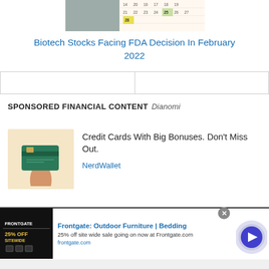[Figure (screenshot): Partial screenshot of a calendar showing dates 21-28 with green highlighted numbers, and a person's image on the left side]
Biotech Stocks Facing FDA Decision In February 2022
[Figure (other): Two-column navigation/ad bar placeholder]
SPONSORED FINANCIAL CONTENT
Dianomi
[Figure (photo): Person holding a green credit card against a beige background]
Credit Cards With Big Bonuses. Don't Miss Out.
NerdWallet
[Figure (screenshot): Frontgate advertisement showing 25% off sitewide sale banner, black background with gold text]
Frontgate: Outdoor Furniture | Bedding
25% off site wide sale going on now at Frontgate.com
frontgate.com